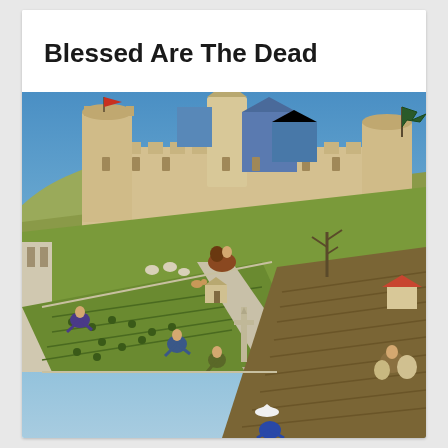Blessed Are The Dead
[Figure (illustration): Medieval illuminated manuscript illustration depicting a grand castle complex on a hill with multiple towers, turrets, and a dragon banner flying from one tower. In the foreground, peasants work in a vineyard and fields; a path leads toward the castle with a stone column/cross at the crossroads. On the right, a figure carries sacks. At the bottom, a figure in a blue and white hat bends over a dark plowed field.]